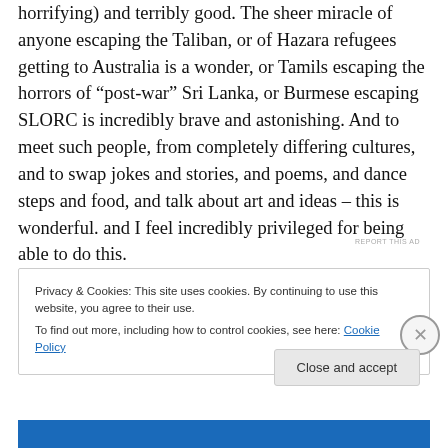horrifying) and terribly good. The sheer miracle of anyone escaping the Taliban, or of Hazara refugees getting to Australia is a wonder, or Tamils escaping the horrors of “post-war” Sri Lanka, or Burmese escaping SLORC is incredibly brave and astonishing. And to meet such people, from completely differing cultures, and to swap jokes and stories, and poems, and dance steps and food, and talk about art and ideas – this is wonderful. and I feel incredibly privileged for being able to do this.
Privacy & Cookies: This site uses cookies. By continuing to use this website, you agree to their use.
To find out more, including how to control cookies, see here: Cookie Policy
Close and accept